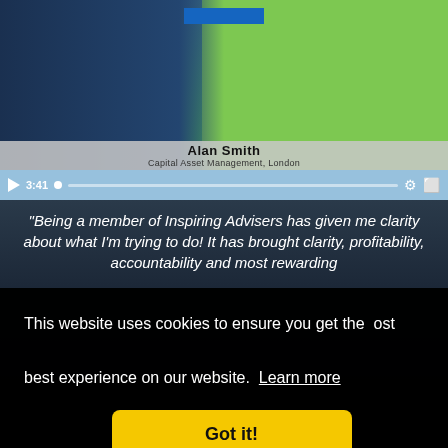[Figure (screenshot): Video player showing Alan Smith from Capital Asset Management, London. Video thumbnail shows a man in a dark jacket against a green background. Controls show play button, timestamp 3:41, progress bar, settings gear icon, and fullscreen icon.]
"Being a member of Inspiring Advisers has given me clarity about what I'm trying to do! It has brought clarity, profitability, accountability and most rewarding
This website uses cookies to ensure you get the most best experience on our website. Learn more
Got it!